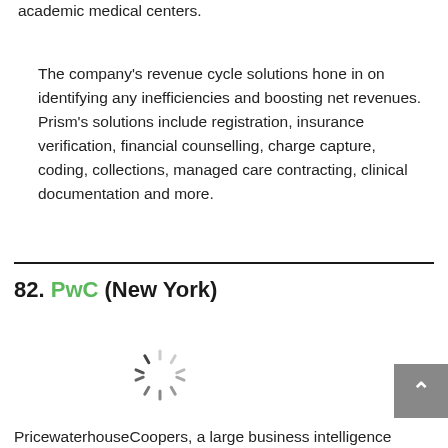academic medical centers.
The company's revenue cycle solutions hone in on identifying any inefficiencies and boosting net revenues. Prism's solutions include registration, insurance verification, financial counselling, charge capture, coding, collections, managed care contracting, clinical documentation and more.
82. PwC (New York)
[Figure (other): Loading spinner graphic]
PricewaterhouseCoopers, a large business intelligence